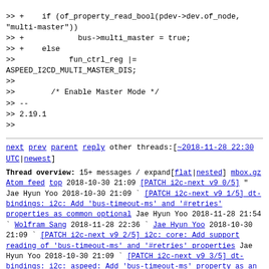>> +    if (of_property_read_bool(pdev->dev.of_node, "multi-master"))
>> +            bus->multi_master = true;
>> +    else
>>            fun_ctrl_reg |=
ASPEED_I2CD_MULTI_MASTER_DIS;
>>
>>        /* Enable Master Mode */
>> --
>> 2.19.1
>>
next prev parent reply  other threads:[~2018-11-28 22:30 UTC|newest]
Thread overview: 15+ messages / expand[flat|nested]
mbox.gz  Atom feed  top
2018-10-30 21:09 [PATCH i2c-next v9 0/5] " Jae Hyun Yoo
2018-10-30 21:09 ` [PATCH i2c-next v9 1/5] dt-bindings: i2c: Add 'bus-timeout-ms' and '#retries' properties as common optional Jae Hyun Yoo
2018-11-28 21:54   ` Wolfram Sang
2018-11-28 22:36     ` Jae Hyun Yoo
2018-10-30 21:09 ` [PATCH i2c-next v9 2/5] i2c: core: Add support reading of 'bus-timeout-ms' and '#retries' properties Jae Hyun Yoo
2018-10-30 21:09 ` [PATCH i2c-next v9 3/5] dt-bindings: i2c: aspeed: Add 'bus-timeout-ms' property as an optional property Jae Hyun Yoo